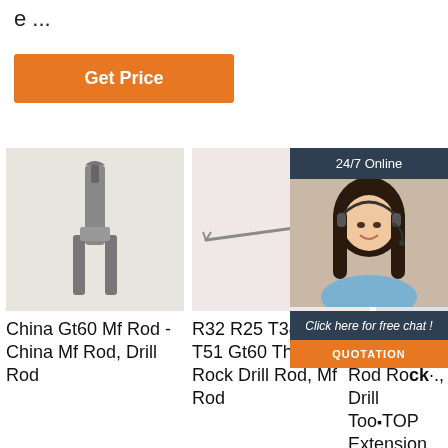e ...
Get Price
[Figure (photo): Customer service representative (woman with headset) with 24/7 Online header, Click here for free chat text, and QUOTATION button]
[Figure (photo): China Gt60 Mf Rod drill rod product photo on light background]
China Gt60 Mf Rod - China Mf Rod, Drill Rod
R32 R25 T38
[Figure (photo): R32 R25 T38 T45 T51 Gt60 Thread Rock Drill Rod product photo showing a thin drill rod]
R32 R25 T38 T45 T51 Gt60 Thread Rock Drill Rod, Mf Rod
[Figure (photo): Partially visible product image for Drifting Drill Rod Rock Drill Tool Extension Rod]
Drifting Drill Rod Rock Drill Tool Extension Rod